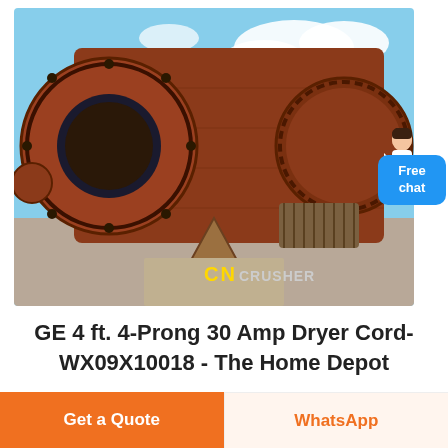[Figure (photo): Large industrial ball mill or drum grinder machine, rust-colored/brown, photographed outdoors under blue sky with white clouds. Equipment shows CN CRUSHER branding in yellow text on a concrete base. A large circular end cap with bolt ring is visible on the left, and a motor drive unit on the right.]
GE 4 ft. 4-Prong 30 Amp Dryer Cord- WX09X10018 - The Home Depot
Get a Quote
WhatsApp